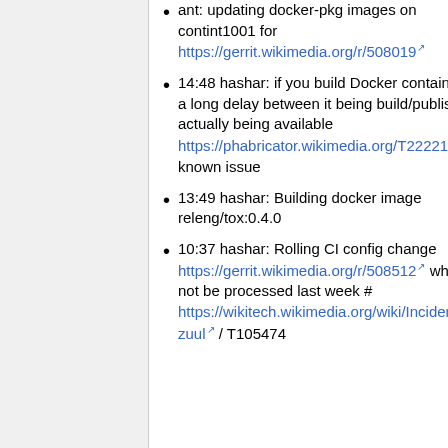ant: updating docker-pkg images on contint1001 for https://gerrit.wikimedia.org/r/508019
14:48 hashar: if you build Docker containers, there is a long delay between it being build/published and it actually being available https://phabricator.wikimedia.org/T222210#5176863 known issue
13:49 hashar: Building docker image releng/tox:0.4.0
10:37 hashar: Rolling CI config change https://gerrit.wikimedia.org/r/508512 which caused some patches to not be processed last week # https://wikitech.wikimedia.org/wiki/Incident_documentation/20190506-zuul / T105474